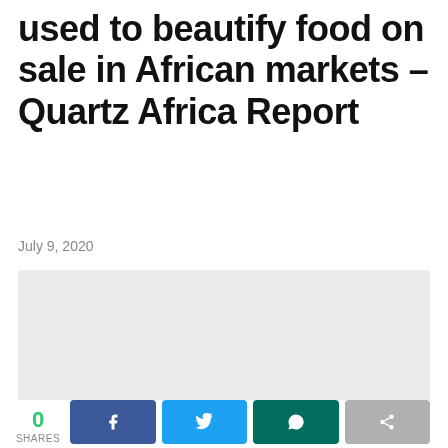used to beautify food on sale in African markets – Quartz Africa Report
July 9, 2020
[Figure (photo): Large light gray placeholder image area]
0 SHARES
[Figure (other): Social share buttons: Facebook, Twitter, WhatsApp, Share]